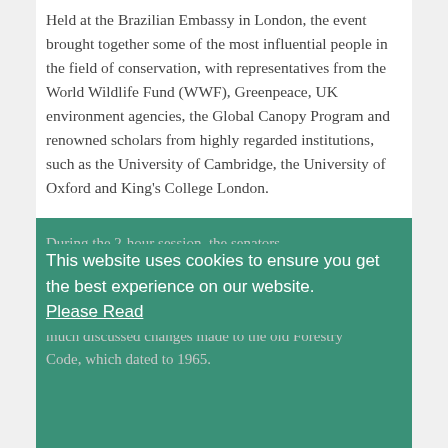Held at the Brazilian Embassy in London, the event brought together some of the most influential people in the field of conservation, with representatives from the World Wildlife Fund (WWF), Greenpeace, UK environment agencies, the Global Canopy Program and renowned scholars from highly regarded institutions, such as the University of Cambridge, the University of Oxford and King's College London.
During the 2-hour session, the senators, re[obscured by cookie banner]ate a[obscured] alists and pu[obscured]v legislation to paper, explained the much discussed changes made to the old Forestry Code, which dated to 1965.
This website uses cookies to ensure you get the best experience on our website. Please Read
Ok, that's understood
The new legislation has maintained the main